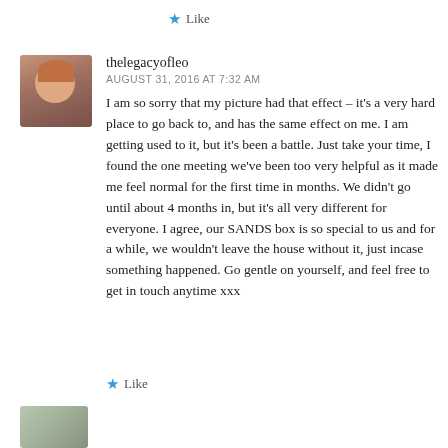★ Like
thelegacyofleo
AUGUST 31, 2016 AT 7:32 AM
I am so sorry that my picture had that effect – it's a very hard place to go back to, and has the same effect on me. I am getting used to it, but it's been a battle. Just take your time, I found the one meeting we've been too very helpful as it made me feel normal for the first time in months. We didn't go until about 4 months in, but it's all very different for everyone. I agree, our SANDS box is so special to us and for a while, we wouldn't leave the house without it, just incase something happened. Go gentle on yourself, and feel free to get in touch anytime xxx
★ Like